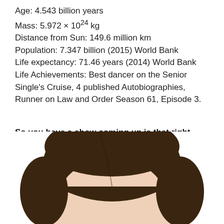Age: 4.543 billion years
Mass: 5.972 × 10^24 kg
Distance from Sun: 149.6 million km
Population: 7.347 billion (2015) World Bank
Life expectancy: 71.46 years (2014) World Bank
Life Achievements: Best dancer on the Senior Single's Cruise, 4 published Autobiographies, Runner on Law and Order Season 61, Episode 3.
So you have a show coming up is that right *slightly disaffected*?
I heard the exact same thing about you.
[Figure (photo): Top of a person's head showing forehead and hair, cropped at bottom of page]